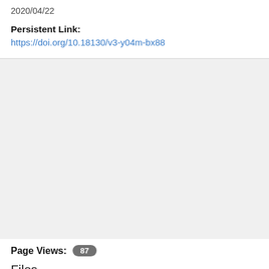2020/04/22
Persistent Link:
https://doi.org/10.18130/v3-y04m-bx88
Page Views: 87
Files